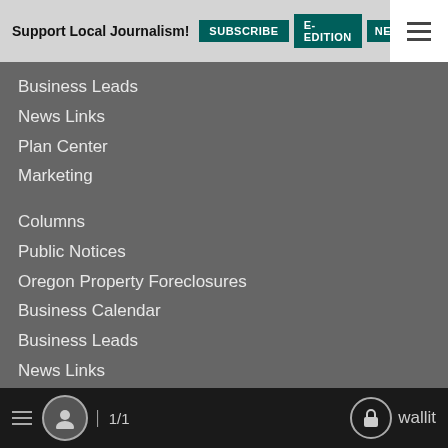Support Local Journalism! SUBSCRIBE E-EDITION NEWSLET
Business Leads
News Links
Plan Center
Marketing
Columns
Public Notices
Oregon Property Foreclosures
Business Calendar
Business Leads
News Links
Plan Center
Marketing
Contract Publishing
Printing and Distribution Services
Special Publications
≡  👤  1/1  🔓 wallit